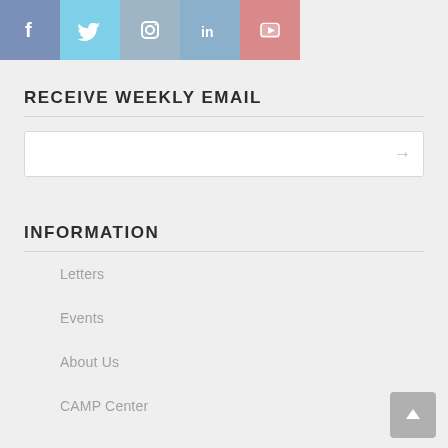[Figure (other): Row of five social media icon buttons: Facebook (blue-grey), Twitter (light blue), Instagram (grey-blue), LinkedIn (blue), YouTube (pink-red)]
RECEIVE WEEKLY EMAIL
[Figure (other): Email input field with right-arrow submit button]
INFORMATION
Letters
Events
About Us
CAMP Center